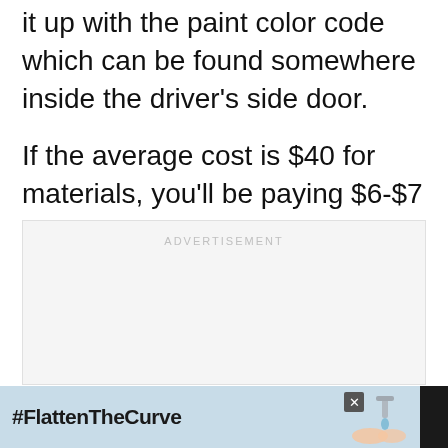it up with the paint color code which can be found somewhere inside the driver's side door.
If the average cost is $40 for materials, you'll be paying $6-$7 per square foot for DIY bumper paint.
[Figure (other): Advertisement placeholder box with light gray background and 'ADVERTISEMENT' label in light gray text]
[Figure (other): Bottom banner advertisement with dark background showing #FlattenTheCurve hashtag on light blue background with handwashing image and brand logo with dots]